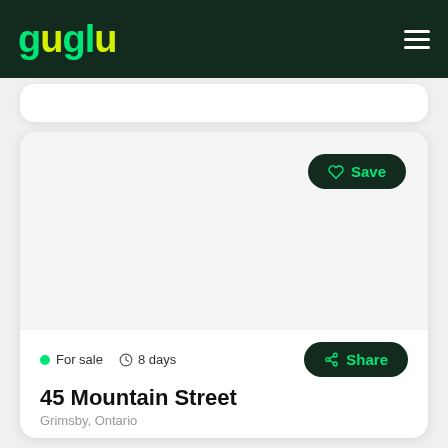guglu
[Figure (screenshot): Listing card image area (blank/white placeholder)]
For sale  8 days
45 Mountain Street
Grimsby, Ontario
$699,888  3 Bed  2 Bath